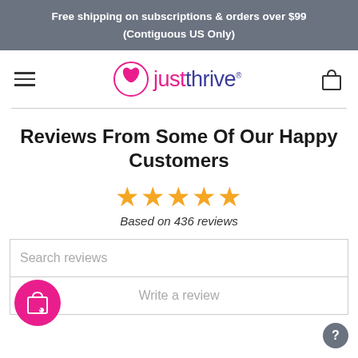Free shipping on subscriptions & orders over $99 (Contiguous US Only)
[Figure (logo): Just Thrive logo with pink leaf icon and two-tone brand name]
Reviews From Some Of Our Happy Customers
Based on 436 reviews
Search reviews
Write a review